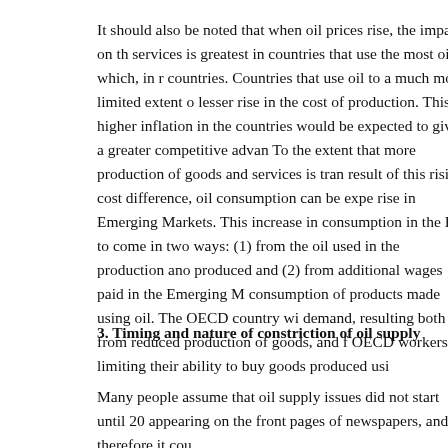It should also be noted that when oil prices rise, the impact on the services is greatest in countries that use the most oil, which, in m countries. Countries that use oil to a much more limited extent o lesser rise in the cost of production. This higher inflation in the countries would be expected to give a greater competitive advan To the extent that more production of goods and services is tran result of this rising cost difference, oil consumption can be expe rise in Emerging Markets. This increase in consumption in the E to come in two ways: (1) from the oil used in the production and produced and (2) from additional wages paid in the Emerging M consumption of products made using oil. The OECD country wi demand, resulting both from reduced production of goods, and f OECD workers, limiting their ability to buy goods produced usi
3. Timing and nature of constriction of oil supply
Many people assume that oil supply issues did not start until 20 appearing on the front pages of newspapers, and therefore it cou